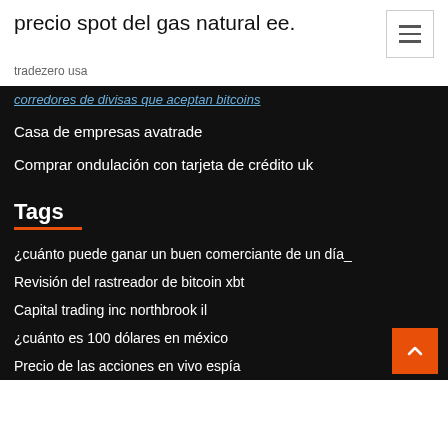precio spot del gas natural ee.
tradezero usa
corredores de divisas que aceptan bitcoins
Casa de empresas avatrade
Comprar ondulación con tarjeta de crédito uk
Tags
¿cuánto puede ganar un buen comerciante de un día_
Revisión del rastreador de bitcoin xbt
Capital trading inc northbrook il
¿cuánto es 100 dólares en méxico
Precio de las acciones en vivo espía